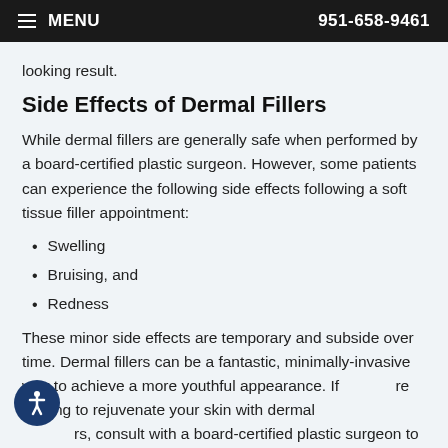MENU  951-658-9461
looking result.
Side Effects of Dermal Fillers
While dermal fillers are generally safe when performed by a board-certified plastic surgeon. However, some patients can experience the following side effects following a soft tissue filler appointment:
Swelling
Bruising, and
Redness
These minor side effects are temporary and subside over time. Dermal fillers can be a fantastic, minimally-invasive way to achieve a more youthful appearance. If you're looking to rejuvenate your skin with dermal fillers, consult with a board-certified plastic surgeon to ensure you receive the best possible care.